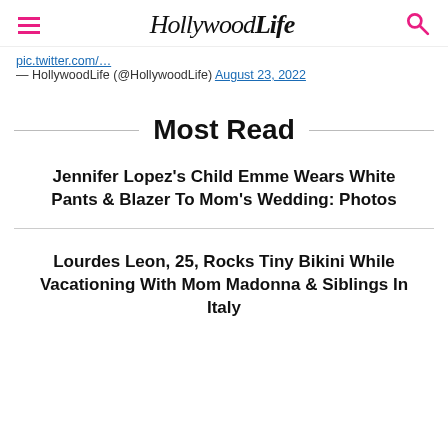HollywoodLife
— HollywoodLife (@HollywoodLife) August 23, 2022
Most Read
Jennifer Lopez's Child Emme Wears White Pants & Blazer To Mom's Wedding: Photos
Lourdes Leon, 25, Rocks Tiny Bikini While Vacationing With Mom Madonna & Siblings In Italy